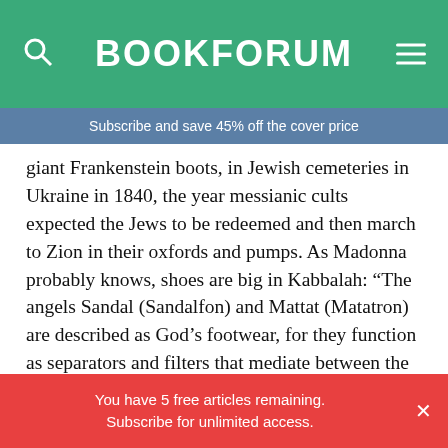BOOKFORUM
Subscribe and save 45% off the cover price
giant Frankenstein boots, in Jewish cemeteries in Ukraine in 1840, the year messianic cults expected the Jews to be redeemed and then march to Zion in their oxfords and pumps. As Madonna probably knows, shoes are big in Kabbalah: “The angels Sandal (Sandalfon) and Mattat (Matatron) are described as God’s footwear, for they function as separators and filters that mediate between the spiritual and material worlds. It is through these ‘shoes’ that the overwhelming intensity of divine
You have 5 free articles remaining. Subscribe for unlimited access.